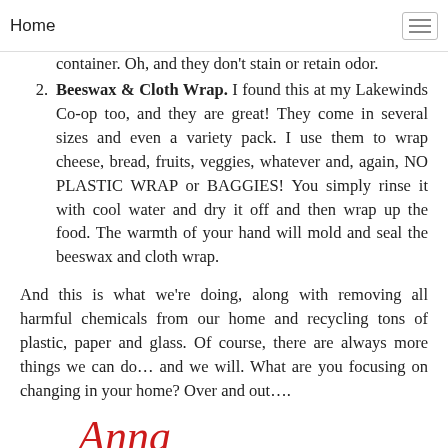Home
and moist AND no more plastic wrap! Plus fewer dishes to wash since you can go from stove to fridge in the same container. Oh, and they don't stain or retain odor.
2. Beeswax & Cloth Wrap. I found this at my Lakewinds Co-op too, and they are great! They come in several sizes and even a variety pack. I use them to wrap cheese, bread, fruits, veggies, whatever and, again, NO PLASTIC WRAP or BAGGIES! You simply rinse it with cool water and dry it off and then wrap up the food. The warmth of your hand will mold and seal the beeswax and cloth wrap.
And this is what we're doing, along with removing all harmful chemicals from our home and recycling tons of plastic, paper and glass. Of course, there are always more things we can do… and we will. What are you focusing on changing in your home? Over and out….
Anna
**Full Disclosure: one of the many hats I wear is that of Norwex Independent Sales Consultant. However, none of those